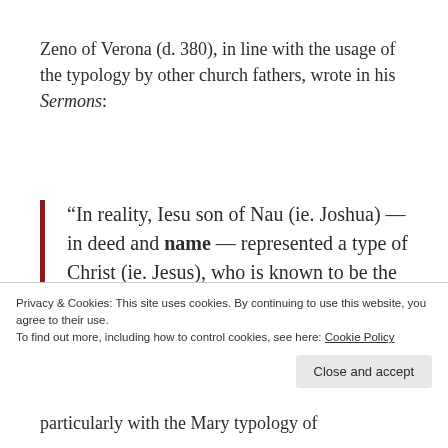Zeno of Verona (d. 380), in line with the usage of the typology by other church fathers, wrote in his Sermons:
“In reality, Iesu son of Nau (ie. Joshua) — in deed and name — represented a type of Christ (ie. Jesus), who is known to be the true saviour of all.” Farber
Privacy & Cookies: This site uses cookies. By continuing to use this website, you agree to their use.
To find out more, including how to control cookies, see here: Cookie Policy
particularly with the Mary typology of